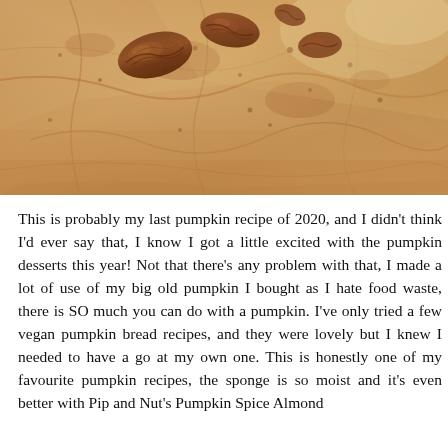[Figure (photo): Close-up photo of a pumpkin spice dessert (likely pumpkin bread or cake) with pecan nuts on top, dusted with cinnamon or spice, showing a golden-brown crumbly texture.]
This is probably my last pumpkin recipe of 2020, and I didn't think I'd ever say that, I know I got a little excited with the pumpkin desserts this year! Not that there's any problem with that, I made a lot of use of my big old pumpkin I bought as I hate food waste, there is SO much you can do with a pumpkin. I've only tried a few vegan pumpkin bread recipes, and they were lovely but I knew I needed to have a go at my own one. This is honestly one of my favourite pumpkin recipes, the sponge is so moist and it's even better with Pip and Nut's Pumpkin Spice Almond